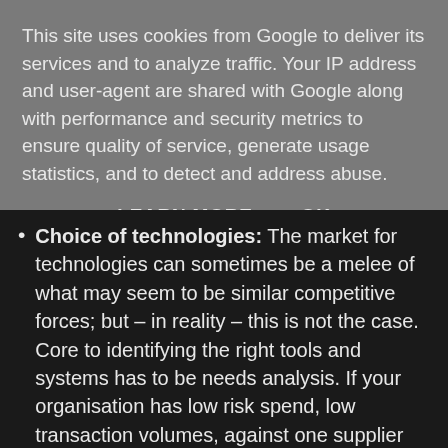This site uses cookies from Google to deliver its services and to analyze traffic. Your IP address and user-agent are shared with Google along with performance and security metrics to ensure quality of service, generate usage statistics, and to detect and address abuse.
LEARN MORE   OK
Choice of technologies: The market for technologies can sometimes be a melee of what may seem to be similar competitive forces; but – in reality – this is not the case. Core to identifying the right tools and systems has to be needs analysis. If your organisation has low risk spend, low transaction volumes, against one supplier under contract, and all purchased by one person in a store-room, you may not recognise the benefits of sophisticated procurement risk management technologies. On the other hand, the further you move up the scale in terms of spend, transaction volumes, number of